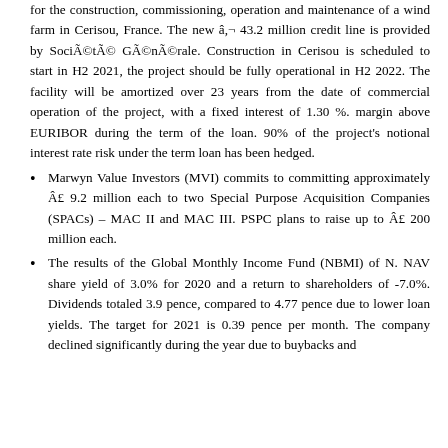for the construction, commissioning, operation and maintenance of a wind farm in Cerisou, France. The new â,¬ 43.2 million credit line is provided by SociétéGénérale. Construction in Cerisou is scheduled to start in H2 2021, the project should be fully operational in H2 2022. The facility will be amortized over 23 years from the date of commercial operation of the project, with a fixed interest of 1.30 %. margin above EURIBOR during the term of the loan. 90% of the project's notional interest rate risk under the term loan has been hedged.
Marwyn Value Investors (MVI) commits to committing approximately Â£ 9.2 million each to two Special Purpose Acquisition Companies (SPACs) – MAC II and MAC III. PSPC plans to raise up to Â£ 200 million each.
The results of the Global Monthly Income Fund (NBMI) of N. NAV share yield of 3.0% for 2020 and a return to shareholders of -7.0%. Dividends totaled 3.9 pence, compared to 4.77 pence due to lower loan yields. The target for 2021 is 0.39 pence per month. The company declined significantly during the year due to buybacks and